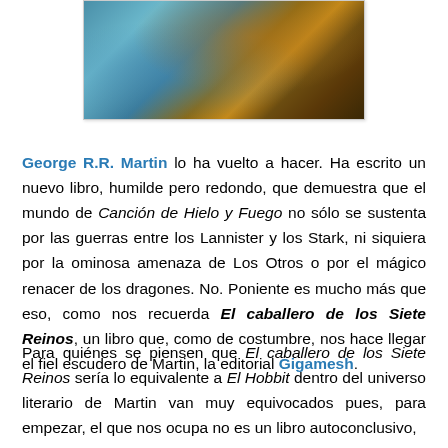[Figure (illustration): Book cover or illustration showing a warrior on horseback in a teal/blue swirling background, fantasy art style]
George R.R. Martin lo ha vuelto a hacer. Ha escrito un nuevo libro, humilde pero redondo, que demuestra que el mundo de Canción de Hielo y Fuego no sólo se sustenta por las guerras entre los Lannister y los Stark, ni siquiera por la ominosa amenaza de Los Otros o por el mágico renacer de los dragones. No. Poniente es mucho más que eso, como nos recuerda El caballero de los Siete Reinos, un libro que, como de costumbre, nos hace llegar el fiel escudero de Martin, la editorial Gigamesh.
Para quiénes se piensen que El caballero de los Siete Reinos sería lo equivalente a El Hobbit dentro del universo literario de Martin van muy equivocados pues, para empezar, el que nos ocupa no es un libro autoconclusivo,